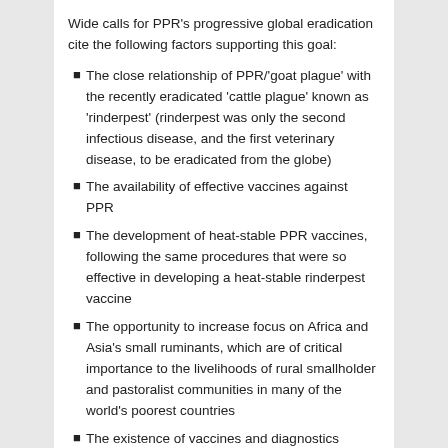Wide calls for PPR's progressive global eradication cite the following factors supporting this goal:
The close relationship of PPR/'goat plague' with the recently eradicated 'cattle plague' known as 'rinderpest' (rinderpest was only the second infectious disease, and the first veterinary disease, to be eradicated from the globe)
The availability of effective vaccines against PPR
The development of heat-stable PPR vaccines, following the same procedures that were so effective in developing a heat-stable rinderpest vaccine
The opportunity to increase focus on Africa and Asia's small ruminants, which are of critical importance to the livelihoods of rural smallholder and pastoralist communities in many of the world's poorest countries
The existence of vaccines and diagnostics considered sufficient to initiate the program; the current vaccines (based on the strain Nigeria 75/1) are safe, efficacious and provide life-long immunity.